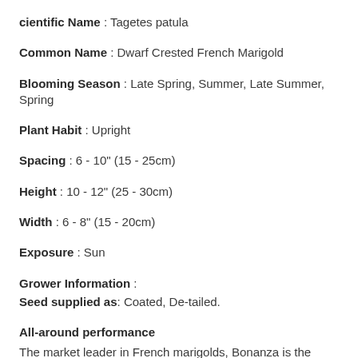cientific Name : Tagetes patula
Common Name : Dwarf Crested French Marigold
Blooming Season : Late Spring, Summer, Late Summer, Spring
Plant Habit : Upright
Spacing : 6 - 10" (15 - 25cm)
Height : 10 - 12" (25 - 30cm)
Width : 6 - 8" (15 - 20cm)
Exposure : Sun
Grower Information :
Seed supplied as: Coated, De-tailed.
All-around performance
The market leader in French marigolds, Bonanza is the series to